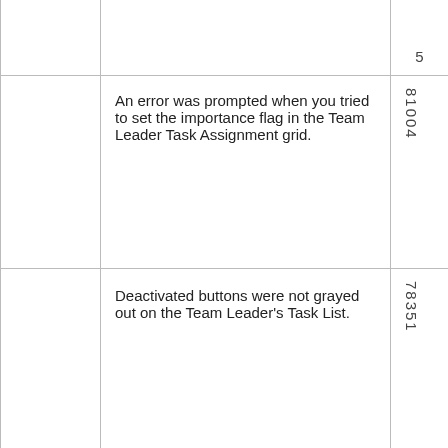| Category | Description | ID |
| --- | --- | --- |
|  |  | 5 |
|  | An error was prompted when you tried to set the importance flag in the Team Leader Task Assignment grid. | 81004 |
|  | Deactivated buttons were not grayed out on the Team Leader's Task List. | 78351 |
| Installation packages | The WebAPI 9.2 bin folder did not include the PnmSoft.Licensing.dll file. | 84503 |